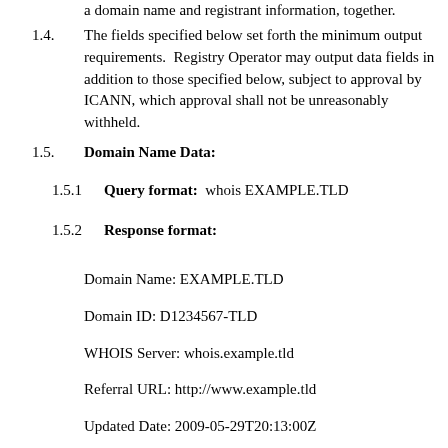a domain name and registrant information, together.
1.4.  The fields specified below set forth the minimum output requirements.  Registry Operator may output data fields in addition to those specified below, subject to approval by ICANN, which approval shall not be unreasonably withheld.
1.5.  Domain Name Data:
1.5.1  Query format:  whois EXAMPLE.TLD
1.5.2  Response format:
Domain Name: EXAMPLE.TLD
Domain ID: D1234567-TLD
WHOIS Server: whois.example.tld
Referral URL: http://www.example.tld
Updated Date: 2009-05-29T20:13:00Z
Creation Date: 2000-10-08T00:45:00Z
Registry Expiry Date: 2010-10-08T00:44:59Z
Sponsoring Registrar: EXAMPLE REGISTRAR LLC
Sponsoring Registrar IANA ID: 5555555
Domain Status: clientDeleteProhibited
Domain Status: clientRenewProhibited